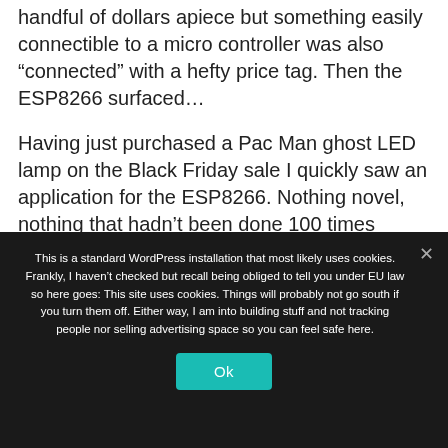handful of dollars apiece but something easily connectible to a micro controller was also “connected” with a hefty price tag. Then the ESP8266 surfaced…
Having just purchased a Pac Man ghost LED lamp on the Black Friday sale I quickly saw an application for the ESP8266. Nothing novel, nothing that hadn’t been done 100 times before but something fun.
[Figure (photo): Partially visible image, appears to show a Pac Man ghost LED lamp, mostly obscured by cookie consent overlay]
This is a standard WordPress installation that most likely uses cookies. Frankly, I haven’t checked but recall being obliged to tell you under EU law so here goes: This site uses cookies. Things will probably not go south if you turn them off. Either way, I am into building stuff and not tracking people nor selling advertising space so you can feel safe here.